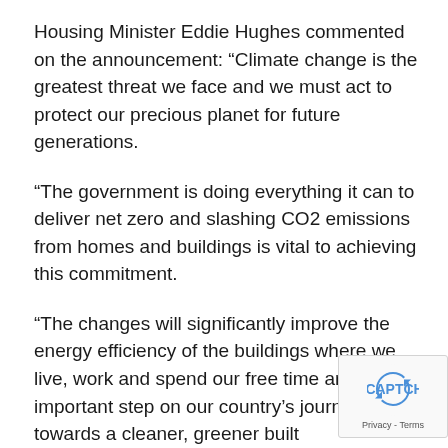Housing Minister Eddie Hughes commented on the announcement: “Climate change is the greatest threat we face and we must act to protect our precious planet for future generations.
“The government is doing everything it can to deliver net zero and slashing CO2 emissions from homes and buildings is vital to achieving this commitment.
“The changes will significantly improve the energy efficiency of the buildings where we live, work and spend our free time and are an important step on our country’s journey towards a cleaner, greener built environment.”
According to Department for Levelling Up, Housing and Communities, heating and powering buildings currently make up 40% of the UK’s total energy use.